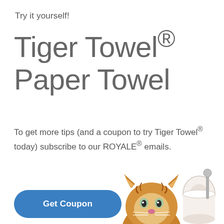Try it yourself!
Tiger Towel® Paper Towel
To get more tips (and a coupon to try Tiger Towel® today) subscribe to our ROYALE® emails.
Get Coupon
[Figure (illustration): A tiger cub peeking over the bottom edge of the page next to a roll of paper towel]